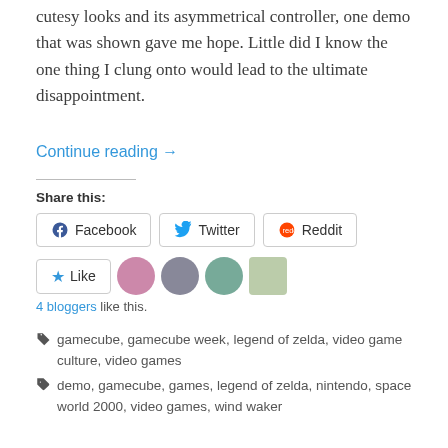cutesy looks and its asymmetrical controller, one demo that was shown gave me hope. Little did I know the one thing I clung onto would lead to the ultimate disappointment.
Continue reading →
Share this:
Facebook  Twitter  Reddit
Like  4 bloggers like this.
gamecube, gamecube week, legend of zelda, video game culture, video games
demo, gamecube, games, legend of zelda, nintendo, space world 2000, video games, wind waker